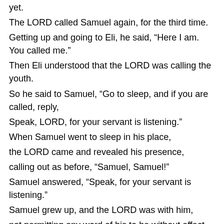yet.
The LORD called Samuel again, for the third time.
Getting up and going to Eli, he said, “Here I am. You called me.”
Then Eli understood that the LORD was calling the youth.
So he said to Samuel, “Go to sleep, and if you are called, reply,
Speak, LORD, for your servant is listening.”
When Samuel went to sleep in his place,
the LORD came and revealed his presence,
calling out as before, “Samuel, Samuel!”
Samuel answered, “Speak, for your servant is listening.”
Samuel grew up, and the LORD was with him,
not permitting any word of his to be without effect.
Reading II – 1 Corinthians 6:13c-15a, 17-20
Brothers and sisters,